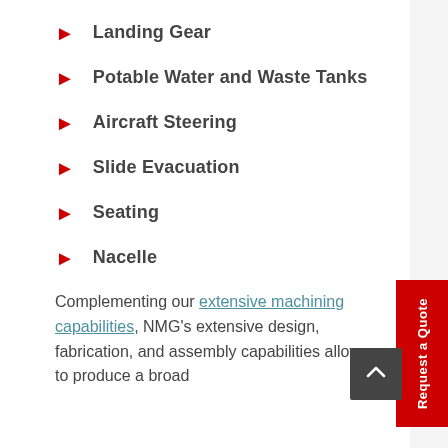Landing Gear
Potable Water and Waste Tanks
Aircraft Steering
Slide Evacuation
Seating
Nacelle
Complementing our extensive machining capabilities, NMG's extensive design, fabrication, and assembly capabilities allow us to produce a broad